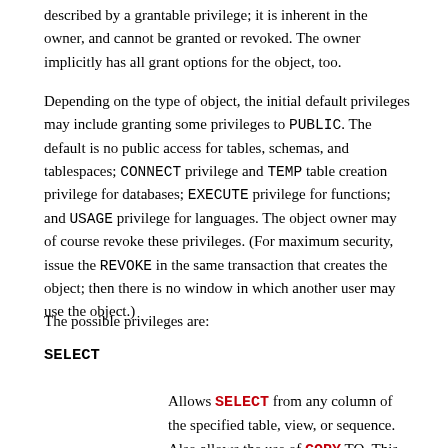described by a grantable privilege; it is inherent in the owner, and cannot be granted or revoked. The owner implicitly has all grant options for the object, too.
Depending on the type of object, the initial default privileges may include granting some privileges to PUBLIC. The default is no public access for tables, schemas, and tablespaces; CONNECT privilege and TEMP table creation privilege for databases; EXECUTE privilege for functions; and USAGE privilege for languages. The object owner may of course revoke these privileges. (For maximum security, issue the REVOKE in the same transaction that creates the object; then there is no window in which another user may use the object.)
The possible privileges are:
SELECT
Allows SELECT from any column of the specified table, view, or sequence. Also allows the use of COPY TO. This privilege is also needed to reference